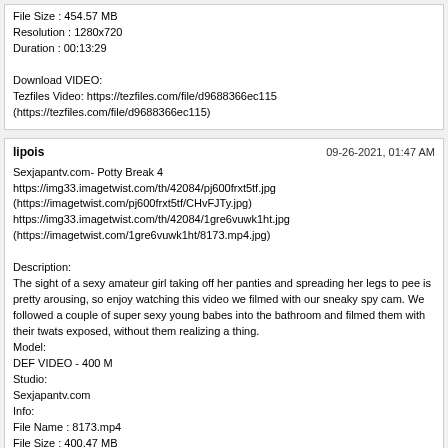File Size : 454.57 MB
Resolution : 1280x720
Duration : 00:13:29

Download VIDEO:
Tezfiles Video: https://tezfiles.com/file/d9688366ec115
(https://tezfiles.com/file/d9688366ec115)
lipois | 09-26-2021, 01:47 AM

Sexjapantv.com- Potty Break 4
https://img33.imagetwist.com/th/42084/pj600frxt5tf.jpg
(https://imagetwist.com/pj600frxt5tf/CHvFJTy.jpg)
https://img33.imagetwist.com/th/42084/1gre6vuwk1ht.jpg
(https://imagetwist.com/1gre6vuwk1ht/8173.mp4.jpg)

Description:
The sight of a sexy amateur girl taking off her panties and spreading her legs to pee is pretty arousing, so enjoy watching this video we filmed with our sneaky spy cam. We followed a couple of super sexy young babes into the bathroom and filmed them with their twats exposed, without them realizing a thing.
Model:
DEF VIDEO - 400 M
Studio:
Sexjapantv.com
Info:
File Name : 8173.mp4
File Size : 400.47 MB
Resolution : 1280x720
Duration : 00:11:53

Download VIDEO:
Tezfiles Video: https://tezfiles.com/file/db7d406bbe92d
(https://tezfiles.com/file/db7d406bbe92d)
lipois | 09-26-2021, 02:42 AM